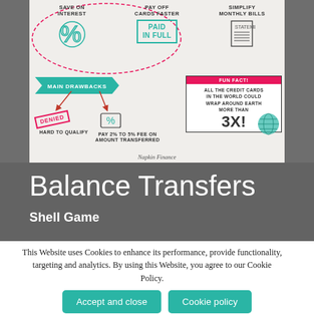[Figure (infographic): Balance transfers infographic from Napkin Finance showing benefits (save on interest, pay off cards faster, simplify monthly bills) with a dashed oval, main drawbacks (hard to qualify, pay 2% to 5% fee on amount transferred) with denied stamp and arrows, and a fun fact box stating all the credit cards in the world could wrap around earth more than 3x.]
Balance Transfers
Shell Game
This Website uses Cookies to enhance its performance, provide functionality, targeting and analytics. By using this Website, you agree to our Cookie Policy.
Accept and close
Cookie policy